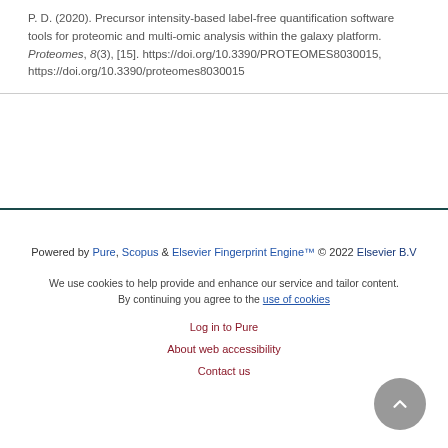P. D. (2020). Precursor intensity-based label-free quantification software tools for proteomic and multi-omic analysis within the galaxy platform. Proteomes, 8(3), [15]. https://doi.org/10.3390/PROTEOMES8030015, https://doi.org/10.3390/proteomes8030015
Powered by Pure, Scopus & Elsevier Fingerprint Engine™ © 2022 Elsevier B.V
We use cookies to help provide and enhance our service and tailor content. By continuing you agree to the use of cookies
Log in to Pure
About web accessibility
Contact us